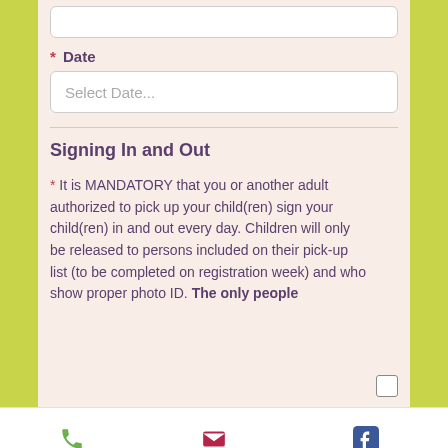* Date
Select Date...
Signing In and Out
* It is MANDATORY that you or another adult authorized to pick up your child(ren) sign your child(ren) in and out every day. Children will only be released to persons included on their pick-up list (to be completed on registration week) and who show proper photo ID. The only people
Phone   Email   Facebook